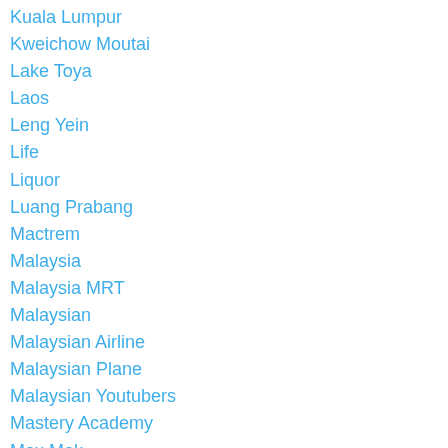Kuala Lumpur
Kweichow Moutai
Lake Toya
Laos
Leng Yein
Life
Liquor
Luang Prabang
Mactrem
Malaysia
Malaysia MRT
Malaysian
Malaysian Airline
Malaysian Plane
Malaysian Youtubers
Mastery Academy
Max Mak
Melbourne
Mel Vinegar
Metaphysics
Mh17